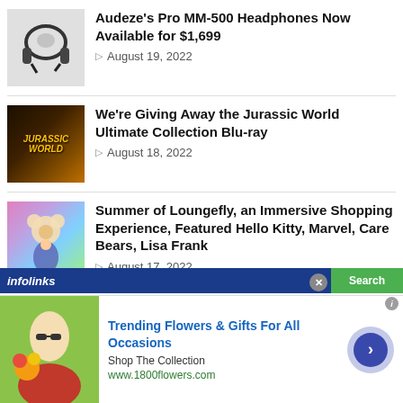Audeze's Pro MM-500 Headphones Now Available for $1,699 — August 19, 2022
We're Giving Away the Jurassic World Ultimate Collection Blu-ray — August 18, 2022
Summer of Loungefly, an Immersive Shopping Experience, Featured Hello Kitty, Marvel, Care Bears, Lisa Frank — August 17, 2022
[Figure (infographic): infolinks ad bar with Search button]
[Figure (infographic): Advertisement banner: Trending Flowers & Gifts For All Occasions, Shop The Collection, www.1800flowers.com with navigation arrow button]